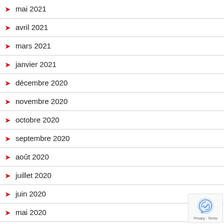mai 2021
avril 2021
mars 2021
janvier 2021
décembre 2020
novembre 2020
octobre 2020
septembre 2020
août 2020
juillet 2020
juin 2020
mai 2020
avril 2020
mars 2020